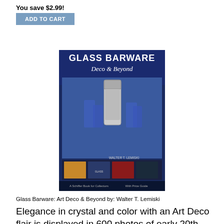You save $2.99!
[Figure (other): Add to Cart button (top)]
[Figure (photo): Book cover: Glass Barware Deco & Beyond by Walter T. Lemiski, featuring blue glass barware set]
Glass Barware: Art Deco & Beyond by: Walter T. Lemiski
Elegance in crystal and color with an Art Deco flair is displayed in 600 photos of early 20th century barware. Cocktail shakers, decanters, pitchers, ...
List Price: $29.95
Our Price: $29.95
Sale Price: $26.96
You save $2.99!
[Figure (other): Add to Cart button (bottom)]